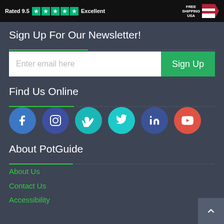[Figure (infographic): Top banner: Trustpilot rating '9.5 Rated Excellent' with green stars, and 'FREE SHIPPING USA' badge with American flag arrow on black background]
Sign Up For Our Newsletter!
Enter email here | Sign Up button
Find Us Online
[Figure (infographic): Social media icons row: Facebook (blue), Instagram (dark blue), Vimeo (teal), Twitter (cyan), LinkedIn (dark blue), YouTube (red)]
About PotGuide
About Us
Contact Us
Accessibility